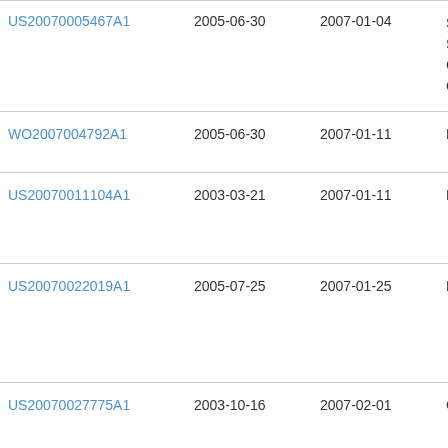| Publication | Filing Date | Publication Date | Assignee |
| --- | --- | --- | --- |
| US20070005467A1 | 2005-06-30 | 2007-01-04 | Svo
Ser
Cal
Cor |
| WO2007004792A1 | 2005-06-30 | 2007-01-11 | Nhu |
| US20070011104A1 | 2003-03-21 | 2007-01-11 | Eba |
| US20070022019A1 | 2005-07-25 | 2007-01-25 | Fra |
| US20070027775A1 | 2003-10-16 | 2007-02-01 | Cha |